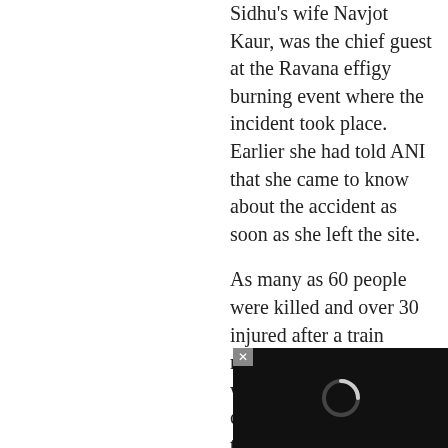Sidhu's wife Navjot Kaur, was the chief guest at the Ravana effigy burning event where the incident took place. Earlier she had told ANI that she came to know about the accident as soon as she left the site.
As many as 60 people were killed and over 30 injured after a train mowed down people watching Dussehra celebrations near a train track in Amritsar's Choura Bazar on Friday.
Punjab Chief M... Captain Amari... Singh
[Figure (other): Dark overlay video player box with close (x) button and loading spinner icon in bottom-right corner of page]